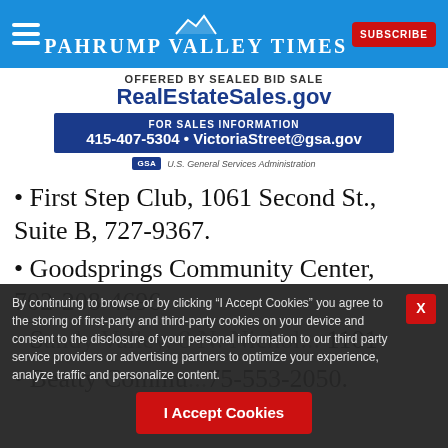Pahrump Valley Times
[Figure (infographic): GSA Real Estate ad: OFFERED BY SEALED BID SALE / RealEstateSales.gov / FOR SALES INFORMATION 415-407-5304 · VictoriaStreet@gsa.gov / U.S. General Services Administration]
· First Step Club, 1061 Second St., Suite B, 727-9367.
· Goodsprings Community Center, 702-208-4696.
· Sandy Valley, 8 N. Nichols 1101 ...
· Beatty Commu... 75-553-2050.
By continuing to browse or by clicking "I Accept Cookies" you agree to the storing of first-party and third-party cookies on your device and consent to the disclosure of your personal information to our third party service providers or advertising partners to optimize your experience, analyze traffic and personalize content.